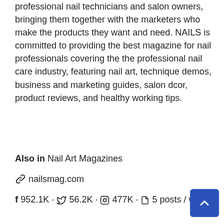professional nail technicians and salon owners, bringing them together with the marketers who make the products they want and need. NAILS is committed to providing the best magazine for nail professionals covering the the professional nail care industry, featuring nail art, technique demos, business and marketing guides, salon dcor, product reviews, and healthy working tips.
Also in Nail Art Magazines
🔗 nailsmag.com
f 952.1K · 🐦 56.2K · 📷 477K · 🗎 5 posts / week
View Latest Posts
Reading: Top 60 Nail Art Blogs and Websites To Follow in 2022